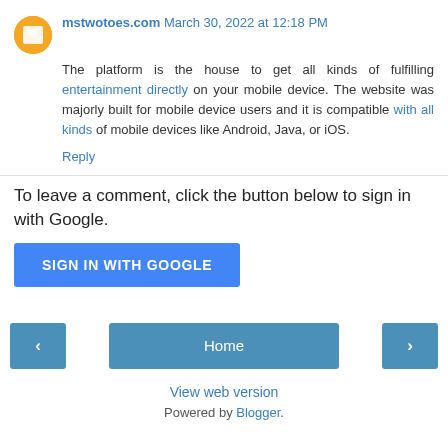mstwotoes.com March 30, 2022 at 12:18 PM
The platform is the house to get all kinds of fulfilling entertainment directly on your mobile device. The website was majorly built for mobile device users and it is compatible with all kinds of mobile devices like Android, Java, or iOS.
Reply
To leave a comment, click the button below to sign in with Google.
[Figure (other): SIGN IN WITH GOOGLE button]
[Figure (other): Navigation bar with previous arrow, Home button, and next arrow]
View web version
Powered by Blogger.